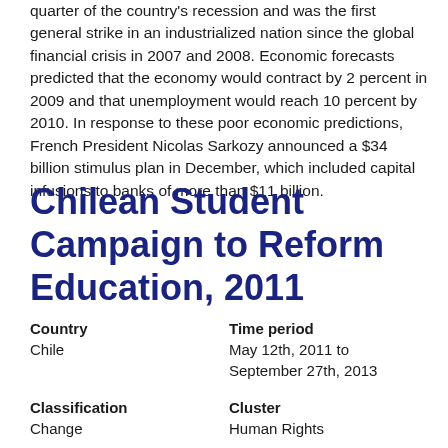quarter of the country's recession and was the first general strike in an industrialized nation since the global financial crisis in 2007 and 2008. Economic forecasts predicted that the economy would contract by 2 percent in 2009 and that unemployment would reach 10 percent by 2010. In response to these poor economic predictions, French President Nicolas Sarkozy announced a $34 billion stimulus plan in December, which included capital infusions to banks of more than $11 billion.
Chilean Student Campaign to Reform Education, 2011
| Country | Time period | Classification | Cluster | Total points | Name of researcher, and |
| --- | --- | --- | --- | --- | --- |
| Chile | May 12th, 2011 to September 27th, 2013 | Change | Human Rights |  |  |